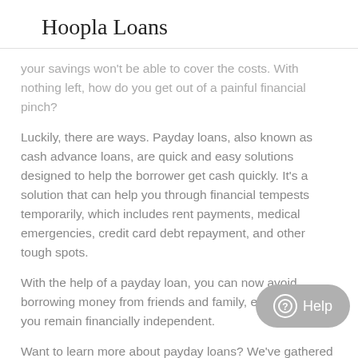Hoopla Loans
your savings won't be able to cover the costs. With nothing left, how do you get out of a painful financial pinch?
Luckily, there are ways. Payday loans, also known as cash advance loans, are quick and easy solutions designed to help the borrower get cash quickly. It's a solution that can help you through financial tempests temporarily, which includes rent payments, medical emergencies, credit card debt repayment, and other tough spots.
With the help of a payday loan, you can now avoid borrowing money from friends and family, ensuring that you remain financially independent.
Want to learn more about payday loans? We've gathered three undeniable reasons why you need it:
Reason #1: It's The Best Way To Cash Fast
Payday loans are meant for getting your cash quickly in...